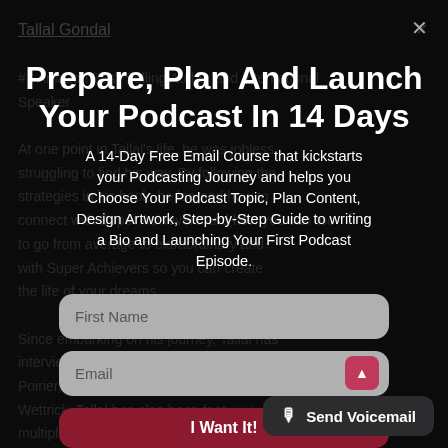Tallal Gondal
#1 Amazon Best-Selling Author and International Speaker
At one point in Tallal's life, he was jobless, struggling to find his way. By following the strategies in his book, he learned how to connect with Super Achievers and how you can too to go from average to extraordinary and with Super Achievers so you can create the life of your dreams.

Since embarking on his journey, Tallal has interviewed Super Achievers, including Corey Poirier, Gene McNaughton Dorie Clark and Don Wettrick. Tallal has also been featured multiple times, on The Mentors po...
Prepare, Plan And Launch Your Podcast In 14 Days
A 14-Day Free Email Course that kickstarts your Podcasting Journey and helps you Choose Your Podcast Topic, Plan Content, Design Artwork, Step-by-Step Guide to writing a Bio and Launching Your First Podcast Episode.
First Name
Email
I Want It!
Send Voicemail